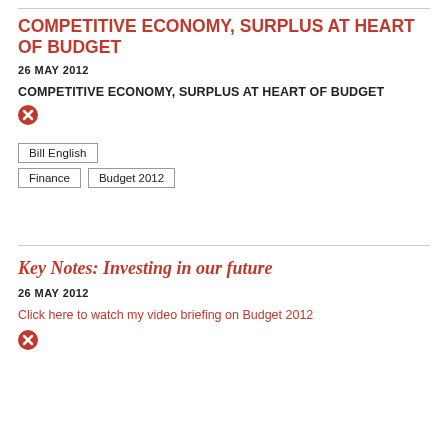COMPETITIVE ECONOMY, SURPLUS AT HEART OF BUDGET
26 MAY 2012
COMPETITIVE ECONOMY, SURPLUS AT HEART OF BUDGET
Bill English
Finance   Budget 2012
Key Notes: Investing in our future
26 MAY 2012
Click here to watch my video briefing on Budget 2012